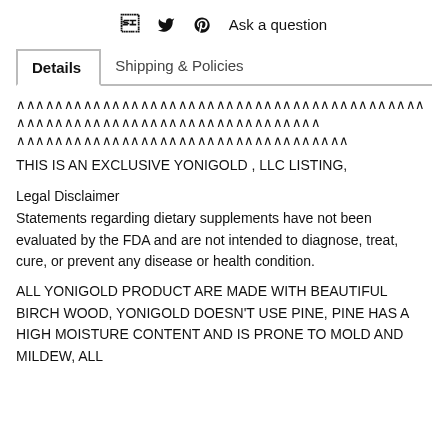f  twitter  pinterest  Ask a question
Details  |  Shipping & Policies
∧∧∧∧∧∧∧∧∧∧∧∧∧∧∧∧∧∧∧∧∧∧∧∧∧∧∧∧∧∧∧∧∧∧∧∧∧∧∧∧∧∧∧∧∧∧∧∧∧∧∧∧∧∧∧∧∧∧∧∧∧∧∧∧∧∧∧∧∧∧∧∧ ∧∧∧∧∧∧∧∧∧∧∧∧∧∧∧∧∧∧∧∧∧∧∧∧∧∧∧∧∧∧∧∧∧∧∧
THIS IS AN EXCLUSIVE YONIGOLD , LLC LISTING,
Legal Disclaimer
Statements regarding dietary supplements have not been evaluated by the FDA and are not intended to diagnose, treat, cure, or prevent any disease or health condition.
ALL YONIGOLD PRODUCT ARE MADE WITH BEAUTIFUL BIRCH WOOD, YONIGOLD DOESN'T USE PINE, PINE HAS A HIGH MOISTURE CONTENT AND IS PRONE TO MOLD AND MILDEW, ALL